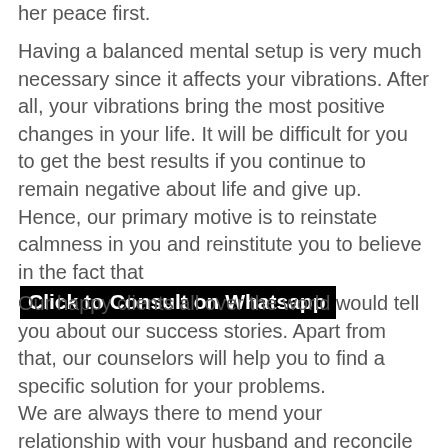her peace first.
Having a balanced mental setup is very much necessary since it affects your vibrations. After all, your vibrations bring the most positive changes in your life. It will be difficult for you to get the best results if you continue to remain negative about life and give up. Hence, our primary motive is to reinstate calmness in you and reinstitute you to believe in the fact that Click to Consult on Whatsapp
Our happy clients all over the world would tell you about our success stories. Apart from that, our counselors will help you to find a specific solution for your problems.
We are always there to mend your relationship with your husband and reconcile your marriage. This is